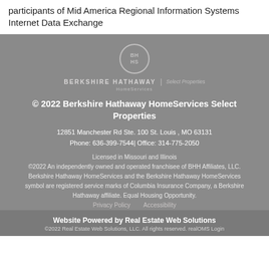participants of Mid America Regional Information Systems Internet Data Exchange
[Figure (logo): Berkshire Hathaway HomeServices Select Properties logo with circular BH/HS emblem]
© 2022 Berkshire Hathaway HomeServices Select Properties
12851 Manchester Rd Ste. 100 St. Louis , MO 63131
Phone: 636-399-7544| Office: 314-775-2050
Licensed in Missouri and Illinois
©2022 An independently owned and operated franchisee of BHH Affiliates, LLC. Berkshire Hathaway HomeServices and the Berkshire Hathaway HomeServices symbol are registered service marks of Columbia Insurance Company, a Berkshire Hathaway affiliate. Equal Housing Opportunity.
Privacy Policy        Accessibility
Website Powered by Real Estate Web Solutions
©2022 Real Estate Web Solutions, LLC. All rights reserved. realOMS Login